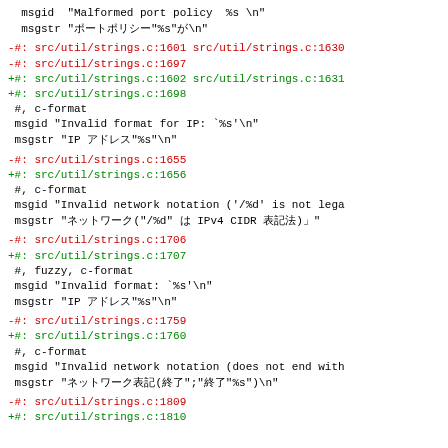msgid  "Malformed port policy  %s \n"
msgstr "ポートポリシー"%s"が\n"
-#: src/util/strings.c:1601 src/util/strings.c:1630
-#: src/util/strings.c:1697
+#: src/util/strings.c:1602 src/util/strings.c:1631
+#: src/util/strings.c:1698
 #, c-format
 msgid "Invalid format for IP: `%s'\n"
 msgstr "IP アドレス"%s"\n"
-#: src/util/strings.c:1655
+#: src/util/strings.c:1656
 #, c-format
 msgid "Invalid network notation ('/%%d' is not lega
 msgstr "ネットワーク("/%%d" は IPv4 CIDR 表記法)」"
-#: src/util/strings.c:1706
+#: src/util/strings.c:1707
 #, fuzzy, c-format
 msgid "Invalid format: `%s'\n"
 msgstr "IP アドレス"%s"\n"
-#: src/util/strings.c:1759
+#: src/util/strings.c:1760
 #, c-format
 msgid "Invalid network notation (does not end with
 msgstr "ネットワーク表記(終了;""|終了"%s")\n"
-#: src/util/strings.c:1809
+#: src/util/strings.c:1810